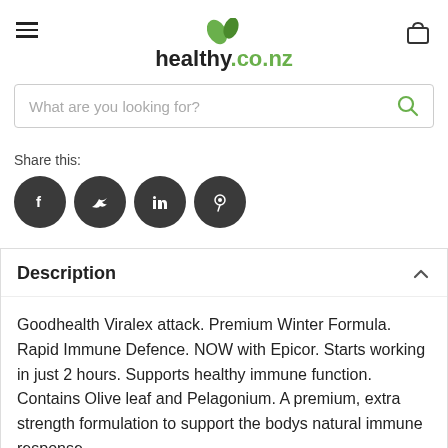healthy.co.nz
[Figure (screenshot): Search bar with placeholder text 'What are you looking for?' and a green search icon]
Share this:
[Figure (infographic): Four dark circular social media icons: Facebook, Twitter, LinkedIn, Pinterest]
Description
Goodhealth Viralex attack. Premium Winter Formula. Rapid Immune Defence. NOW with Epicor. Starts working in just 2 hours. Supports healthy immune function. Contains Olive leaf and Pelagonium. A premium, extra strength formulation to support the bodys natural immune response